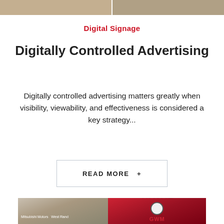[Figure (photo): Partial top image showing a building/signage, cropped at the top of the page]
Digital Signage
Digitally Controlled Advertising
Digitally controlled advertising matters greatly when visibility, viewability, and effectiveness is considered a key strategy...
READ MORE +
[Figure (photo): Photo of a car dealership building showing HAVAL signage and GWM logo, with Mitsubishi Motors West Rand text visible]